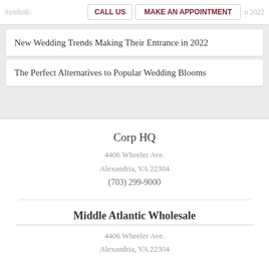Symbolic | CALL US | MAKE AN APPOINTMENT | 2022
New Wedding Trends Making Their Entrance in 2022
The Perfect Alternatives to Popular Wedding Blooms
Corp HQ
4406 Wheeler Ave.
Alexandria, VA 22304
(703) 299-9000
Middle Atlantic Wholesale
4406 Wheeler Ave.
Alexandria, VA 22304